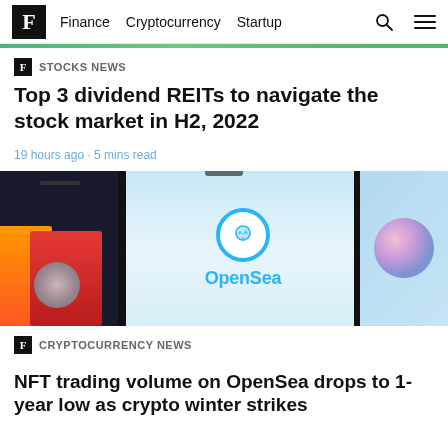F  Finance  Cryptocurrency  Startup
F STOCKS NEWS
Top 3 dividend REITs to navigate the stock market in H2, 2022
19 hours ago · 5 mins read
[Figure (photo): OpenSea logo displayed on a smartphone screen surrounded by NFT artwork cards, with blurred colorful NFT images on both sides]
F CRYPTOCURRENCY NEWS
NFT trading volume on OpenSea drops to 1-year low as crypto winter strikes